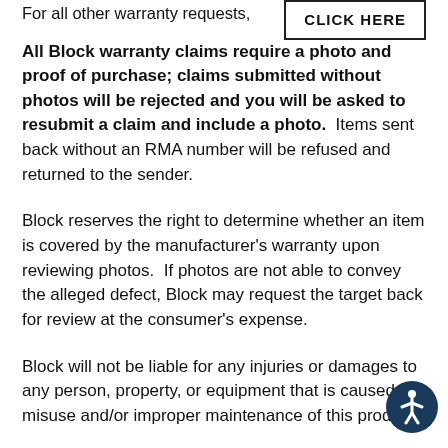For all other warranty requests,
[Figure (other): CLICK HERE button with border]
All Block warranty claims require a photo and proof of purchase; claims submitted without photos will be rejected and you will be asked to resubmit a claim and include a photo.  Items sent back without an RMA number will be refused and returned to the sender.
Block reserves the right to determine whether an item is covered by the manufacturer's warranty upon reviewing photos.  If photos are not able to convey the alleged defect, Block may request the target back for review at the consumer's expense.
Block will not be liable for any injuries or damages to any person, property, or equipment that is caused by misuse and/or improper maintenance of this product.
This warranty does not apply to any target that has been subject to negligence, accident, damage due to improper use/maintenance/storage, or any use other than normal pe... archery use.  If sufficient areas to continue shooting are visible, the